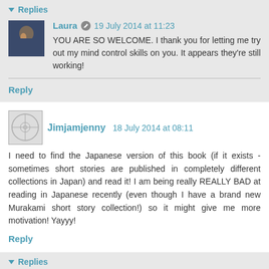▾ Replies
Laura 19 July 2014 at 11:23
YOU ARE SO WELCOME. I thank you for letting me try out my mind control skills on you. It appears they're still working!
Reply
Jimjamjenny 18 July 2014 at 08:11
I need to find the Japanese version of this book (if it exists - sometimes short stories are published in completely different collections in Japan) and read it! I am being really REALLY BAD at reading in Japanese recently (even though I have a brand new Murakami short story collection!) so it might give me more motivation! Yayyy!
Reply
▾ Replies